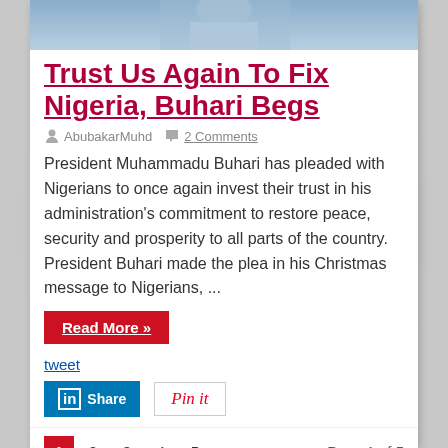[Figure (photo): Photo of a person in a light blue outfit, cropped at top of page]
Trust Us Again To Fix Nigeria, Buhari Begs
AbubakarMuhd   2 Comments
President Muhammadu Buhari has pleaded with Nigerians to once again invest their trust in his administration's commitment to restore peace, security and prosperity to all parts of the country. President Buhari made the plea in his Christmas message to Nigerians, ...
Read More »
tweet
[Figure (other): LinkedIn Share button]
[Figure (other): Pinterest Pin it button]
1  2  3  4  5  »   Page 1 of 5